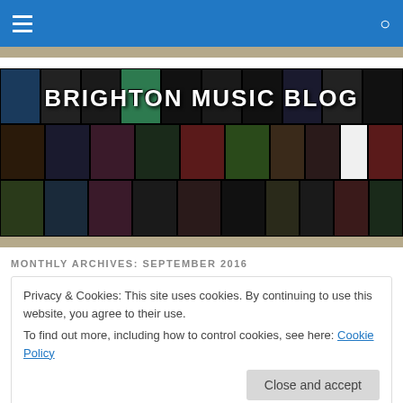Brighton Music Blog - navigation bar
[Figure (photo): Brighton Music Blog banner with collage of concert photos and blog title text overlay]
MONTHLY ARCHIVES: SEPTEMBER 2016
Privacy & Cookies: This site uses cookies. By continuing to use this website, you agree to their use.
To find out more, including how to control cookies, see here: Cookie Policy
[Close and accept button]
front for Black Honey's sold out show next Thursday at